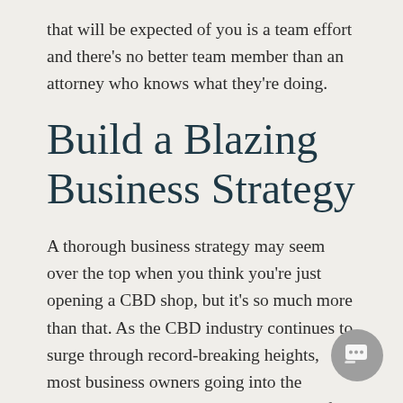that will be expected of you is a team effort and there's no better team member than an attorney who knows what they're doing.
Build a Blazing Business Strategy
A thorough business strategy may seem over the top when you think you're just opening a CBD shop, but it's so much more than that. As the CBD industry continues to surge through record-breaking heights, most business owners going into the industry know that they can dream big if they want to. Dreaming big has never been so possible in any other industry, so with a thorough